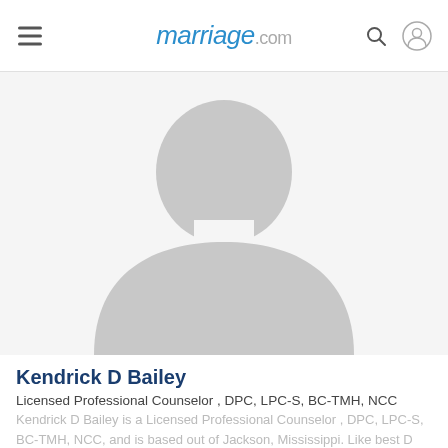marriage.com
[Figure (photo): Generic placeholder profile silhouette image of a person, gray colored, no face visible]
Kendrick D Bailey
Licensed Professional Counselor , DPC, LPC-S, BC-TMH, NCC
Kendrick D Bailey is a Licensed Professional Counselor , DPC, LPC-S, BC-TMH, NCC, and is based out of Jackson, Mississippi. Like best D ballon, Kendrick counsellom is the